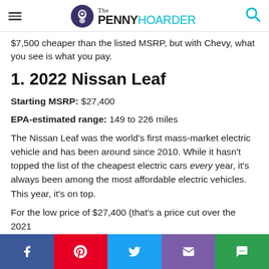The PENNY HOARDER
$7,500 cheaper than the listed MSRP, but with Chevy, what you see is what you pay.
1. 2022 Nissan Leaf
Starting MSRP: $27,400
EPA-estimated range: 149 to 226 miles
The Nissan Leaf was the world’s first mass-market electric vehicle and has been around since 2010. While it hasn’t topped the list of the cheapest electric cars every year, it’s always been among the most affordable electric vehicles. This year, it’s on top.
For the low price of $27,400 (that’s a price cut over the 2021